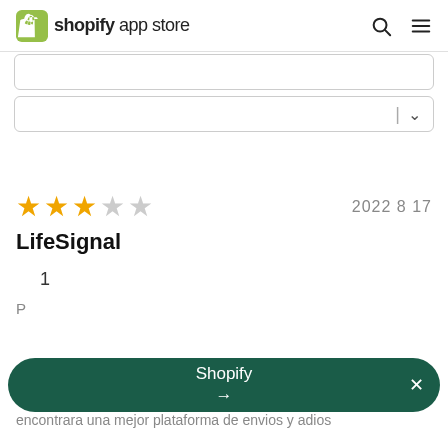shopify app store
[Figure (screenshot): Two input/dropdown form fields for filtering reviews]
2022 8 17
LifeSignal
1
Shopify →
encontrara una mejor plataforma de envios y adios